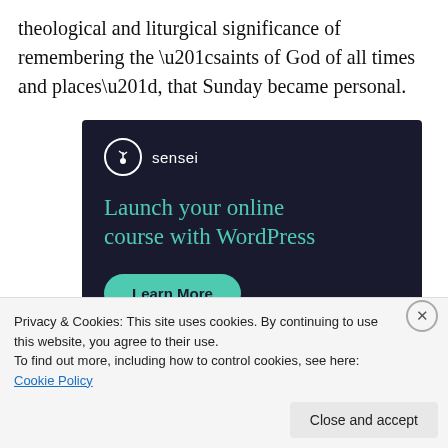theological and liturgical significance of remembering the “saints of God of all times and places”, that Sunday became personal.
[Figure (other): Sensei advertisement banner with dark navy background. Shows Sensei logo (tree icon in circle) with text 'sensei', headline 'Launch your online course with WordPress' in teal/green color, and a teal 'Learn More' button.]
Privacy & Cookies: This site uses cookies. By continuing to use this website, you agree to their use.
To find out more, including how to control cookies, see here: Cookie Policy